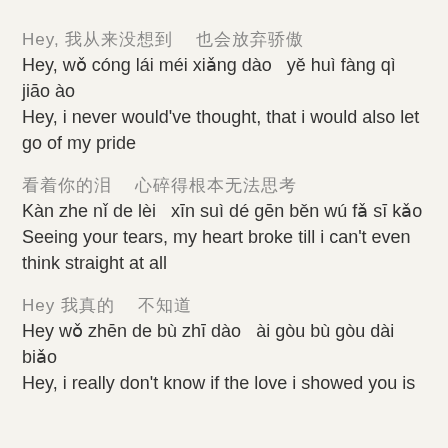Hey, 我从来没 想到
Hey, wǒ cóng lái méi xiǎng dào   yě huì fàng qì jiāo ào
Hey, i never would've thought, that i would also let go of my pride
看着你的泪   心碎得根本无法思考
Kàn zhe nǐ de lèi   xīn suì dé gēn běn wú fǎ sī kǎo
Seeing your tears, my heart broke till i can't even think straight at all
Hey 我真的 不知道
Hey wǒ zhēn de bù zhī dào   ài gòu bù gòu dài biǎo
Hey, i really don't know if the love i showed you is